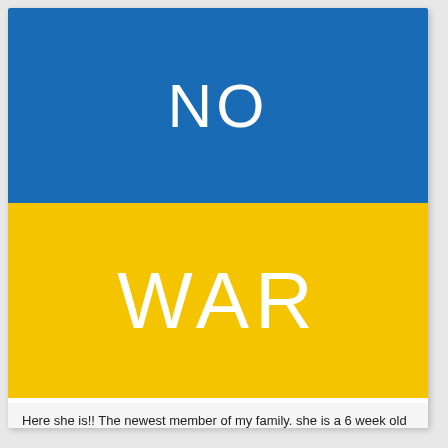[Figure (illustration): Ukrainian flag-colored graphic with two horizontal bands: top blue band with white text 'NO', bottom yellow band with white text 'WAR']
Here she is!! The newest member of my family. she is a 6 week old pomeranian shih tzu mix.